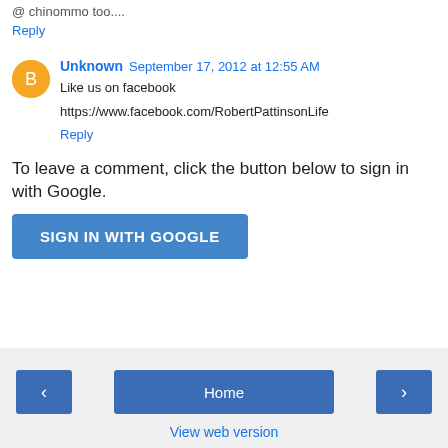@ chinommo too....
Reply
Unknown  September 17, 2012 at 12:55 AM
Like us on facebook
https://www.facebook.com/RobertPattinsonLife
Reply
To leave a comment, click the button below to sign in with Google.
SIGN IN WITH GOOGLE
‹
Home
›
View web version